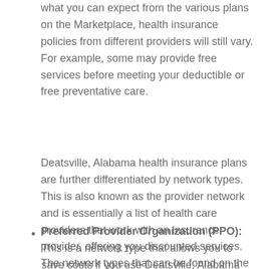what you can expect from the various plans on the Marketplace, health insurance policies from different providers will still vary. For example, some may provide free services before meeting your deductible or free preventative care.
Deatsville, Alabama health insurance plans are further differentiated by network types. This is also known as the provider network and is essentially a list of health care providers that work with an insurance provider, offering you discounted services. The network types that can be found on the Marketplace include the following:
Preferred Provider Organization (PPO): This is a network type that allows you to save costs if you use Deatsville, Alabama healthcare providers that are within the insurance provider's network. You may still go outside of the network of doctors and